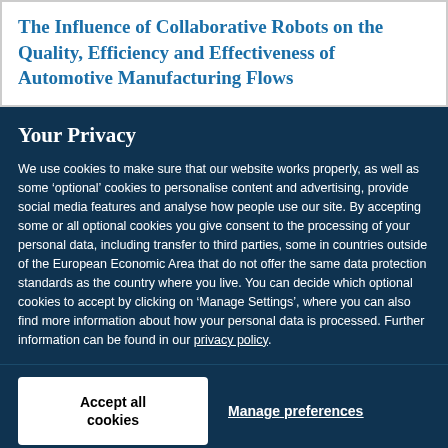The Influence of Collaborative Robots on the Quality, Efficiency and Effectiveness of Automotive Manufacturing Flows
Your Privacy
We use cookies to make sure that our website works properly, as well as some ‘optional’ cookies to personalise content and advertising, provide social media features and analyse how people use our site. By accepting some or all optional cookies you give consent to the processing of your personal data, including transfer to third parties, some in countries outside of the European Economic Area that do not offer the same data protection standards as the country where you live. You can decide which optional cookies to accept by clicking on ‘Manage Settings’, where you can also find more information about how your personal data is processed. Further information can be found in our privacy policy.
Accept all cookies
Manage preferences